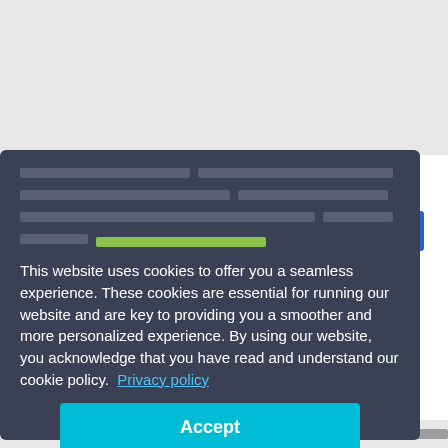[Figure (screenshot): A website screenshot showing a cookie consent modal overlay on a medical/scientific article page. The modal has a dark blue-grey background with redacted text lines at the top, followed by cookie notice text in white, a privacy policy link, and a cyan Accept button. Behind the modal, partially visible content includes a publication date ('Published: May 17, 2022') and keywords section including 'cardiovascular diseases hypertension perceived risk'.]